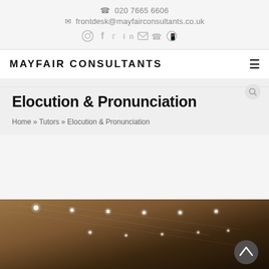020 7665 6606
frontdesk@mayfairconsultants.co.uk
MAYFAIR CONSULTANTS
Elocution & Pronunciation
Home » Tutors » Elocution & Pronunciation
[Figure (photo): Interior photo showing a ceiling with recessed spotlights in a warm-toned room, viewed from below at an angle.]